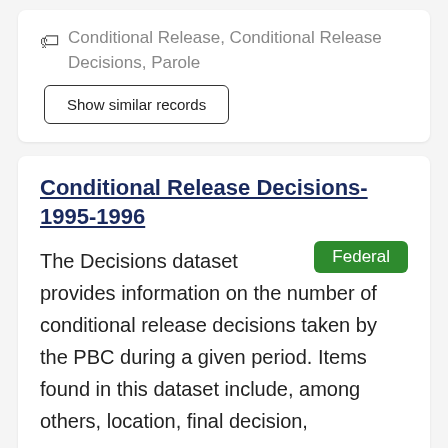Conditional Release, Conditional Release Decisions, Parole
Show similar records
Conditional Release Decisions-1995-1996
Federal
The Decisions dataset provides information on the number of conditional release decisions taken by the PBC during a given period. Items found in this dataset include, among others, location, final decision,